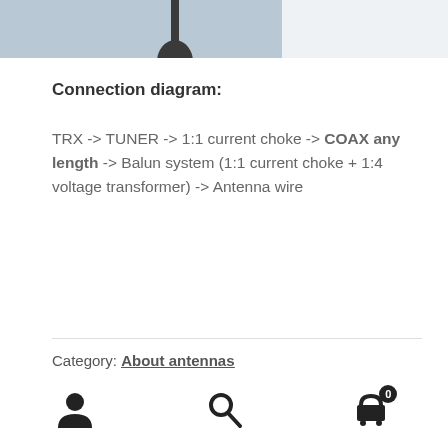[Figure (photo): Top portion of an antenna or similar device against a grey sky, cropped at the top of the page]
Connection diagram:
TRX -> TUNER -> 1:1 current choke -> COAX any length -> Balun system (1:1 current choke + 1:4 voltage transformer) -> Antenna wire
Category: About antennas
Tags: antenna, double ocf, ocf, ocfd
User icon | Search icon | Cart icon with badge 0